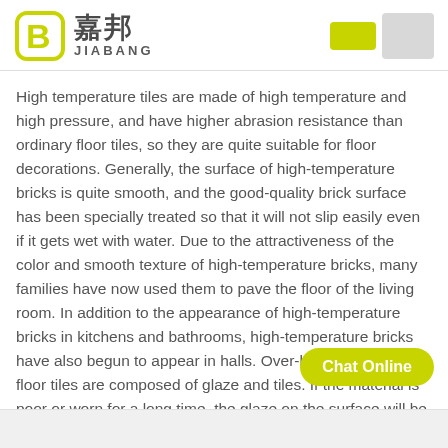[Figure (logo): Jiabang company logo with green circular icon containing letter B and Chinese/English brand name]
High temperature tiles are made of high temperature and high pressure, and have higher abrasion resistance than ordinary floor tiles, so they are quite suitable for floor decorations. Generally, the surface of high-temperature bricks is quite smooth, and the good-quality brick surface has been specially treated so that it will not slip easily even if it gets wet with water. Due to the attractiveness of the color and smooth texture of high-temperature bricks, many families have now used them to pave the floor of the living room. In addition to the appearance of high-temperature bricks in kitchens and bathrooms, high-temperature bricks have also begun to appear in halls. Over-bottom tiles: Most floor tiles are composed of glaze and tiles. If the material is poor or worn for a long time, the glaze on the surface will be scratched or peeled off, exposing and cannot be repaired. Over-the-bottom bricks make up for this